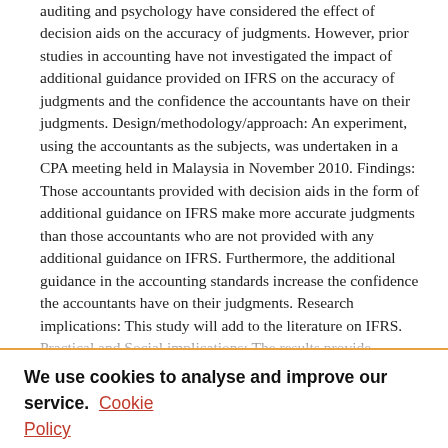auditing and psychology have considered the effect of decision aids on the accuracy of judgments. However, prior studies in accounting have not investigated the impact of additional guidance provided on IFRS on the accuracy of judgments and the confidence the accountants have on their judgments. Design/methodology/approach: An experiment, using the accountants as the subjects, was undertaken in a CPA meeting held in Malaysia in November 2010. Findings: Those accountants provided with decision aids in the form of additional guidance on IFRS make more accurate judgments than those accountants who are not provided with any additional guidance on IFRS. Furthermore, the additional guidance in the accounting standards increase the confidence the accountants have on their judgments. Research implications: This study will add to the literature on IFRS. Practical and Social implications: The results provide evidence of the importance of the additional guidance on the principles-based IFRS, hence, indicating that accounting regulators, such as the International Accounting Standards Board (IASB), should seriously consider including more guidance...
We use cookies to analyse and improve our service. Cookie Policy